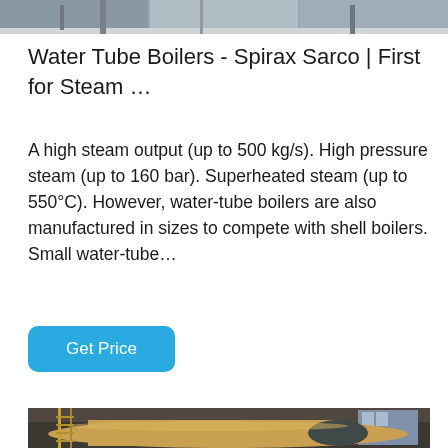[Figure (photo): Top portion of industrial boiler/steam equipment in an industrial facility - partial view cropped at top of page]
Water Tube Boilers - Spirax Sarco | First for Steam …
A high steam output (up to 500 kg/s). High pressure steam (up to 160 bar). Superheated steam (up to 550°C). However, water-tube boilers are also manufactured in sizes to compete with shell boilers. Small water-tube…
[Figure (photo): Industrial boiler in a factory or warehouse setting. A large cylindrical silver/gold-colored pressure vessel (shell boiler) sits on supports, with structural scaffolding/ladders on the left side and windows on the right. The boiler has a circular end cap (burner end) visible on the right.]